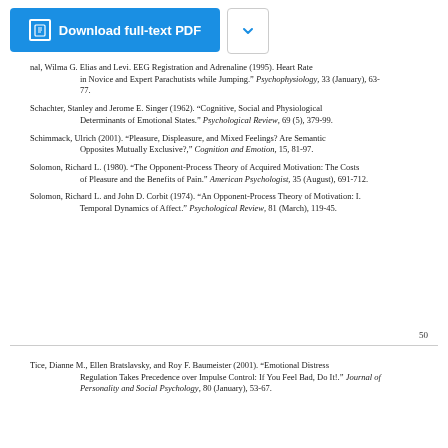[Figure (screenshot): Download full-text PDF button (blue) with chevron dropdown button]
nal, Wilma G. Elias and Levi. EEG Registration and Adrenaline (1995). Heart Rate in Novice and Expert Parachutists while Jumping. Psychophysiology, 33 (January), 63-77.
Schachter, Stanley and Jerome E. Singer (1962). "Cognitive, Social and Physiological Determinants of Emotional States." Psychological Review, 69 (5), 379-99.
Schimmack, Ulrich (2001). "Pleasure, Displeasure, and Mixed Feelings? Are Semantic Opposites Mutually Exclusive?," Cognition and Emotion, 15, 81-97.
Solomon, Richard L. (1980). "The Opponent-Process Theory of Acquired Motivation: The Costs of Pleasure and the Benefits of Pain." American Psychologist, 35 (August), 691-712.
Solomon, Richard L. and John D. Corbit (1974). "An Opponent-Process Theory of Motivation: I. Temporal Dynamics of Affect." Psychological Review, 81 (March), 119-45.
50
Tice, Dianne M., Ellen Bratslavsky, and Roy F. Baumeister (2001). "Emotional Distress Regulation Takes Precedence over Impulse Control: If You Feel Bad, Do It!." Journal of Personality and Social Psychology, 80 (January), 53-67.